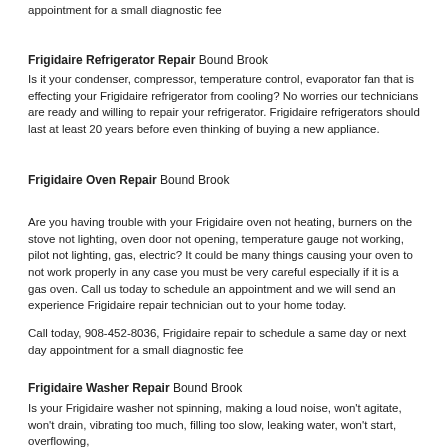appointment for a small diagnostic fee
Frigidaire Refrigerator Repair Bound Brook
Is it your condenser, compressor, temperature control, evaporator fan that is effecting your Frigidaire refrigerator from cooling? No worries our technicians are ready and willing to repair your refrigerator. Frigidaire refrigerators should last at least 20 years before even thinking of buying a new appliance.
Frigidaire Oven Repair Bound Brook
Are you having trouble with your Frigidaire oven not heating, burners on the stove not lighting, oven door not opening, temperature gauge not working, pilot not lighting, gas, electric? It could be many things causing your oven to not work properly in any case you must be very careful especially if it is a gas oven. Call us today to schedule an appointment and we will send an experience Frigidaire repair technician out to your home today.
Call today, 908-452-8036, Frigidaire repair to schedule a same day or next day appointment for a small diagnostic fee
Frigidaire Washer Repair Bound Brook
Is your Frigidaire washer not spinning, making a loud noise, won't agitate, won't drain, vibrating too much, filling too slow, leaking water, won't start, overflowing,